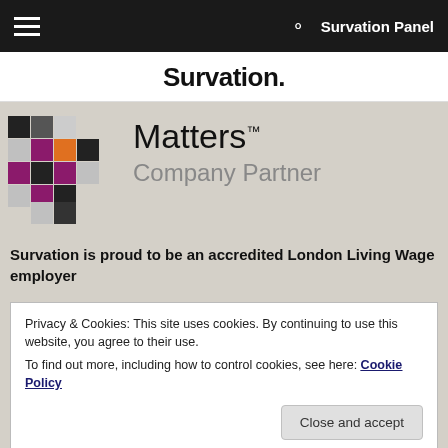Survation Panel
Survation.
[Figure (logo): Matters Company Partner logo with colorful mosaic checkerboard pattern on the left and text 'Matters™ Company Partner' on the right, on a beige/grey background.]
Survation is proud to be an accredited London Living Wage employer
Privacy & Cookies: This site uses cookies. By continuing to use this website, you agree to their use.
To find out more, including how to control cookies, see here: Cookie Policy
Close and accept